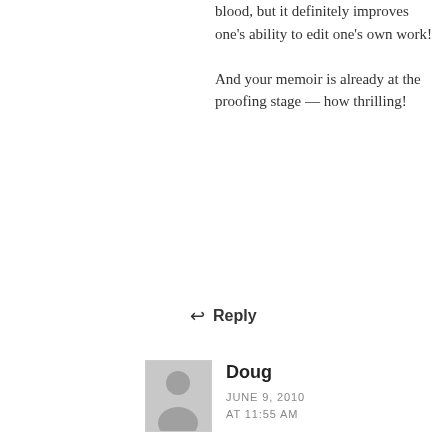blood, but it definitely improves one's ability to edit one's own work!

And your memoir is already at the proofing stage — how thrilling!
↩ Reply
Doug
JUNE 9, 2010 AT 11:55 AM